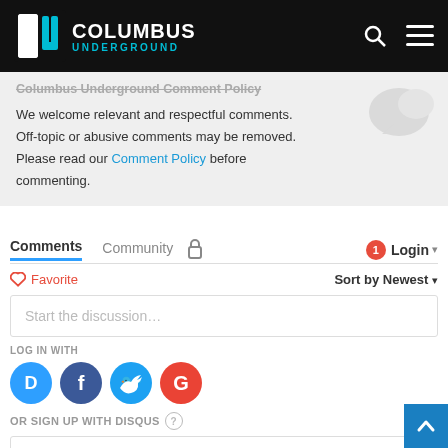[Figure (logo): Columbus Underground logo with CU icon on black header bar]
Columbus Underground Comment Policy
We welcome relevant and respectful comments. Off-topic or abusive comments may be removed. Please read our Comment Policy before commenting.
Comments  Community  Login
Favorite  Sort by Newest
Start the discussion…
LOG IN WITH
[Figure (illustration): Social login icons: Disqus (blue), Facebook (dark blue), Twitter (light blue), Google (red)]
OR SIGN UP WITH DISQUS ?
Name